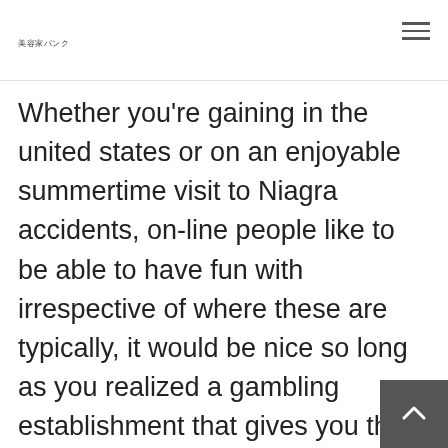美容家バンク
Whether you're gaining in the united states or on an enjoyable summertime visit to Niagra accidents, on-line people like to be able to have fun with irrespective of where these are typically, it would be nice so long as you realized a gambling establishment that gives you the choice to play across all instruments with the exact same profile.
Eventhough it could be hard to find out such networks, there does exist most